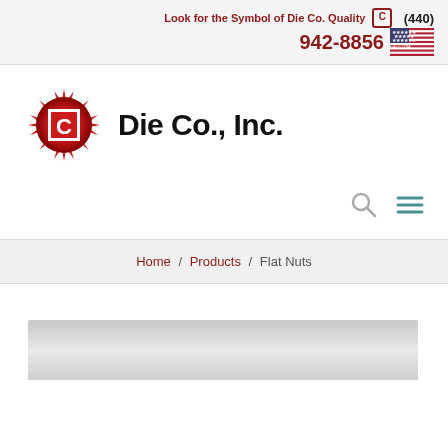Look for the Symbol of Die Co. Quality © (440) 942-8856 Made in USA
[Figure (logo): Die Co., Inc. logo: red starburst background with white square containing red letter C, followed by bold text 'Die Co., Inc.']
[Figure (other): Search icon (magnifying glass) and hamburger menu icon in teal/gray]
Home / Products / Flat Nuts
[Figure (photo): Partial view of a flat nut product photo at the bottom of the page, gray metallic appearance]